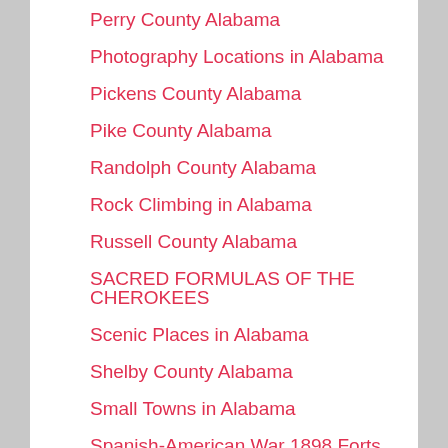Perry County Alabama
Photography Locations in Alabama
Pickens County Alabama
Pike County Alabama
Randolph County Alabama
Rock Climbing in Alabama
Russell County Alabama
SACRED FORMULAS OF THE CHEROKEES
Scenic Places in Alabama
Shelby County Alabama
Small Towns in Alabama
Spanish-American War 1898 Forts
Sports and Hobbies In Alabama